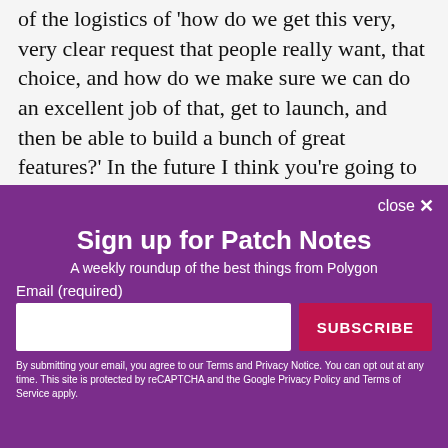of the logistics of 'how do we get this very, very clear request that people really want, that choice, and how do we make sure we can do an excellent job of that, get to launch, and then be able to build a bunch of great features?' In the future I think you're going to see the ways that we change how you discover, how you consume, share, play."
[Figure (screenshot): Modal popup with purple background: 'Sign up for Patch Notes' newsletter signup form from Polygon, with email input and SUBSCRIBE button, and close button in top right corner.]